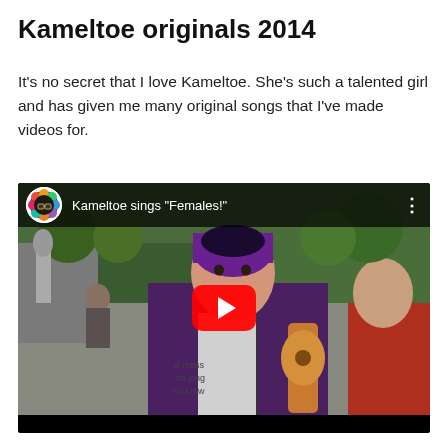Kameltoe originals 2014
It's no secret that I love Kameltoe. She's such a talented girl and has given me many original songs that I've made videos for.
[Figure (screenshot): YouTube video embed showing a person with short purple hair playing a ukulele outdoors. Video title reads: Kameltoe sings "Females!" with a YouTube play button overlay.]